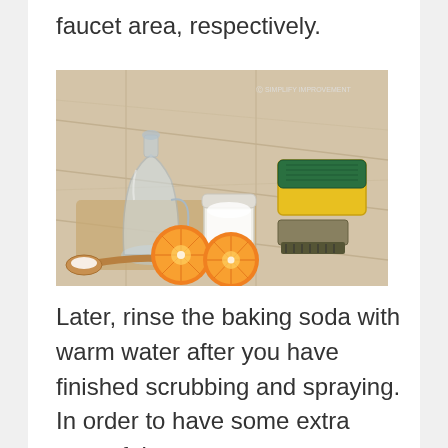faucet area, respectively.
[Figure (photo): Cleaning supplies arranged on a wooden surface: a glass carafe/bottle, two halved oranges, a jar of baking soda, a wooden spoon with white powder, and a yellow sponge with green scrubbing pad. Small watermark text reads 'SIMPLIFY IMPROVEMENT'.]
Later, rinse the baking soda with warm water after you have finished scrubbing and spraying. In order to have some extra powerful